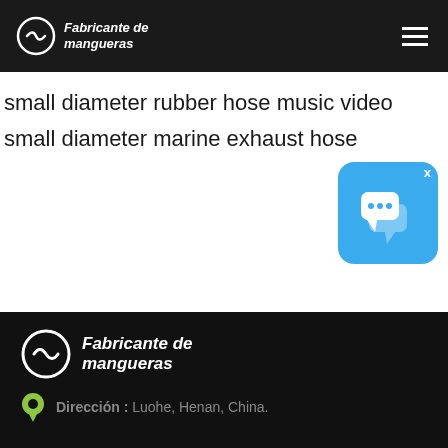Fabricante de mangueras
small diameter rubber hose music video
small diameter marine exhaust hose
[Figure (illustration): Blue chat/messaging app icon with speech bubble symbols and an X close button in the top right corner]
Fabricante de mangueras — Dirección : Luohe, Henan, China.